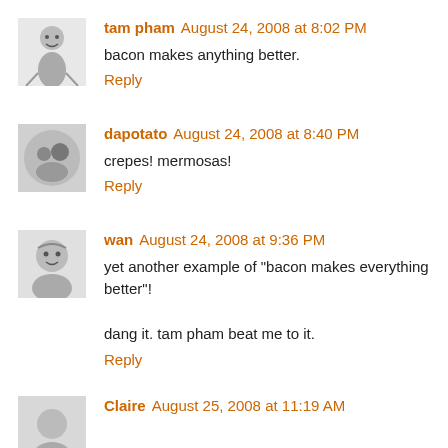tam pham August 24, 2008 at 8:02 PM
bacon makes anything better.
Reply
dapotato August 24, 2008 at 8:40 PM
crepes! mermosas!
Reply
wan August 24, 2008 at 9:36 PM
yet another example of "bacon makes everything better"!

dang it. tam pham beat me to it.
Reply
Claire August 25, 2008 at 11:19 AM